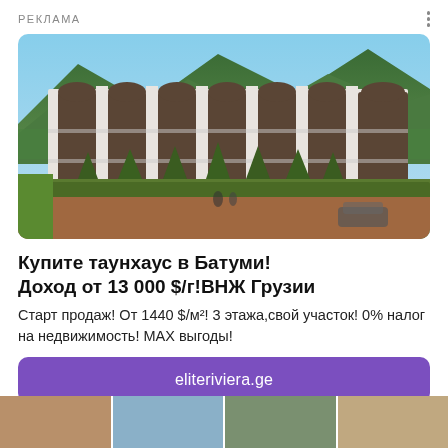РЕКЛАМА
[Figure (photo): Multi-story white Gothic-style townhouse complex with green topiaries and hedgerows in the courtyard, surrounded by forested mountains in the background.]
Купите таунхаус в Батуми! Доход от 13 000 $/г!ВНЖ Грузии
Старт продаж! От 1440 $/м²! 3 этажа,свой участок! 0% налог на недвижимость! MAX выгоды!
eliteriviera.ge